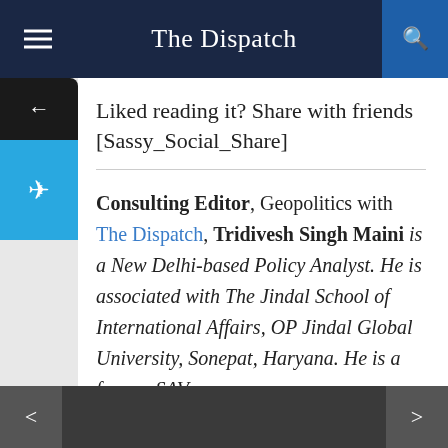The Dispatch
Liked reading it? Share with friends [Sassy_Social_Share]
Consulting Editor, Geopolitics with The Dispatch, Tridivesh Singh Maini is a New Delhi-based Policy Analyst. He is associated with The Jindal School of International Affairs, OP Jindal Global University, Sonepat, Haryana. He is a former SAV